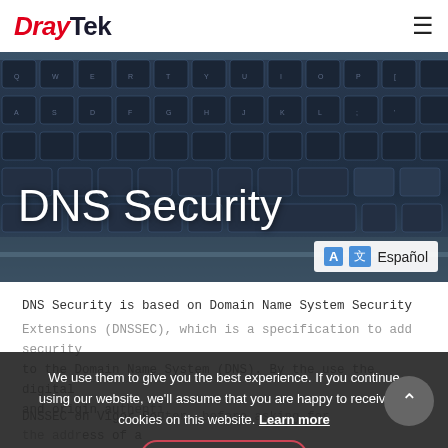DrayTek
[Figure (photo): Hero image of a laptop keyboard with dark blue keys, used as background for the DNS Security page title]
DNS Security
Español
DNS Security is based on Domain Name System Security Extensions (DNSSEC), which is a specification to add security to the Domain Name System (DNS). By the use the digital and origin au... DNSSEC on Vigor Ro... before asking for the addr... domain name, the router will perform iterative queries for
We use them to give you the best experience. If you continue using our website, we'll assume that you are happy to receive all cookies on this website. Learn more
Continue